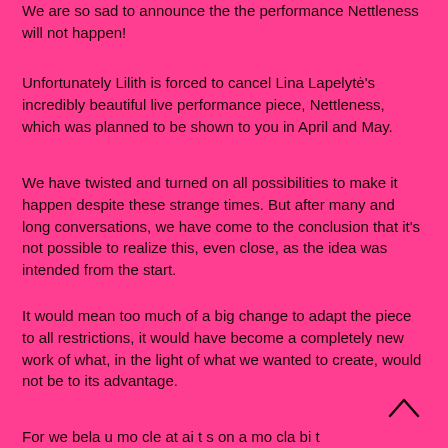We are so sad to announce the the performance Nettleness will not happen!
Unfortunately Lilith is forced to cancel Lina Lapelytė's incredibly beautiful live performance piece, Nettleness, which was planned to be shown to you in April and May.
We have twisted and turned on all possibilities to make it happen despite these strange times. But after many and long conversations, we have come to the conclusion that it's not possible to realize this, even close, as the idea was intended from the start.
It would mean too much of a big change to adapt the piece to all restrictions, it would have become a completely new work of what, in the light of what we wanted to create, would not be to its advantage.
For we bela u mo cle at ai t s on a mo cla bi t